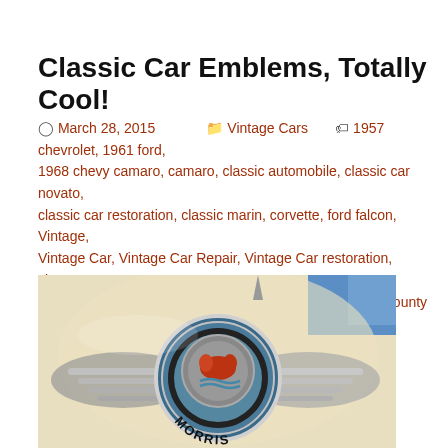Classic Car Emblems, Totally Cool!
March 28, 2015   Vintage Cars   1957 chevrolet, 1961 ford, 1968 chevy camaro, camaro, classic automobile, classic car novato, classic car restoration, classic marin, corvette, ford falcon, Vintage, Vintage Car, Vintage Car Repair, Vintage Car restoration, vintage novato, vintage wedding dress, vintage weddings marin county
[Figure (photo): Close-up photograph of a chrome Morris car emblem/badge on a cream-colored car body. The emblem features a circular design with wings and the word MORRIS at the bottom.]